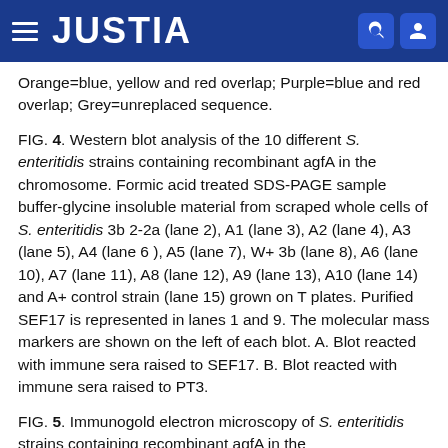JUSTIA
Orange=blue, yellow and red overlap; Purple=blue and red overlap; Grey=unreplaced sequence.
FIG. 4. Western blot analysis of the 10 different S. enteritidis strains containing recombinant agfA in the chromosome. Formic acid treated SDS-PAGE sample buffer-glycine insoluble material from scraped whole cells of S. enteritidis 3b 2-2a (lane 2), A1 (lane 3), A2 (lane 4), A3 (lane 5), A4 (lane 6 ), A5 (lane 7), W+ 3b (lane 8), A6 (lane 10), A7 (lane 11), A8 (lane 12), A9 (lane 13), A10 (lane 14) and A+ control strain (lane 15) grown on T plates. Purified SEF17 is represented in lanes 1 and 9. The molecular mass markers are shown on the left of each blot. A. Blot reacted with immune sera raised to SEF17. B. Blot reacted with immune sera raised to PT3.
FIG. 5. Immunogold electron microscopy of S. enteritidis strains containing recombinant agfA in the